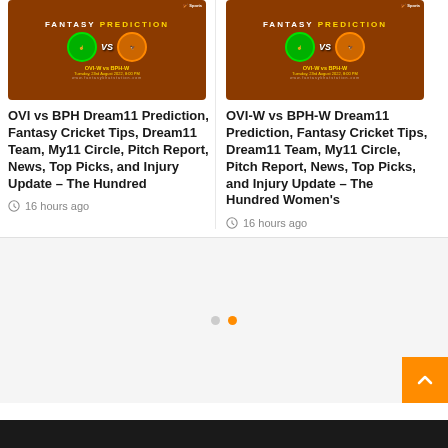[Figure (screenshot): Fantasy Prediction card for OVI vs BPH cricket match with team logos and match details]
OVI vs BPH Dream11 Prediction, Fantasy Cricket Tips, Dream11 Team, My11 Circle, Pitch Report, News, Top Picks, and Injury Update – The Hundred
16 hours ago
[Figure (screenshot): Fantasy Prediction card for OVI-W vs BPH-W cricket match with team logos and match details]
OVI-W vs BPH-W Dream11 Prediction, Fantasy Cricket Tips, Dream11 Team, My11 Circle, Pitch Report, News, Top Picks, and Injury Update – The Hundred Women's
16 hours ago